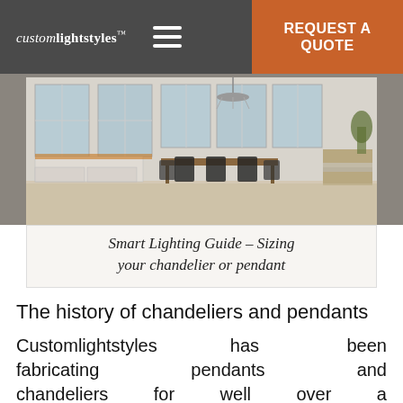customlightstyles | REQUEST A QUOTE
[Figure (photo): Interior kitchen/dining room with large windows, white cabinetry, wooden dining table with black chairs, and a chandelier overhead]
Smart Lighting Guide – Sizing your chandelier or pendant
The history of chandeliers and pendants
Customlightstyles has been fabricating pendants and chandeliers for well over a century. A historical yet